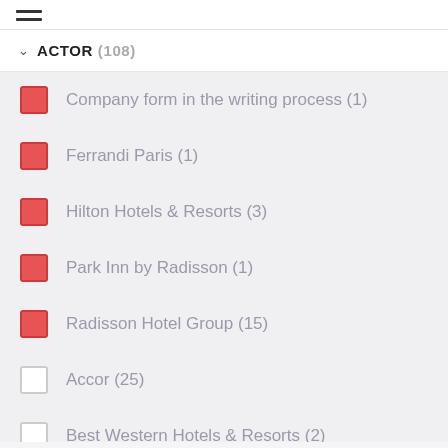[Figure (other): Hamburger menu icon (three horizontal lines)]
ACTOR (108)
Company form in the writing process (1)
Ferrandi Paris (1)
Hilton Hotels & Resorts (3)
Park Inn by Radisson (1)
Radisson Hotel Group (15)
Accor (25)
Best Western Hotels & Resorts (2)